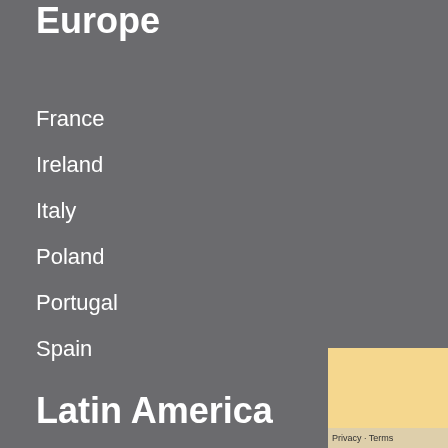Europe
France
Ireland
Italy
Poland
Portugal
Spain
Latin America
Argentina
Brazil
Chile
Costa Rica